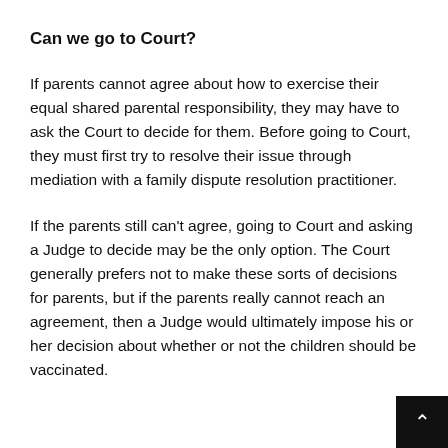Can we go to Court?
If parents cannot agree about how to exercise their equal shared parental responsibility, they may have to ask the Court to decide for them. Before going to Court, they must first try to resolve their issue through mediation with a family dispute resolution practitioner.
If the parents still can't agree, going to Court and asking a Judge to decide may be the only option. The Court generally prefers not to make these sorts of decisions for parents, but if the parents really cannot reach an agreement, then a Judge would ultimately impose his or her decision about whether or not the children should be vaccinated.